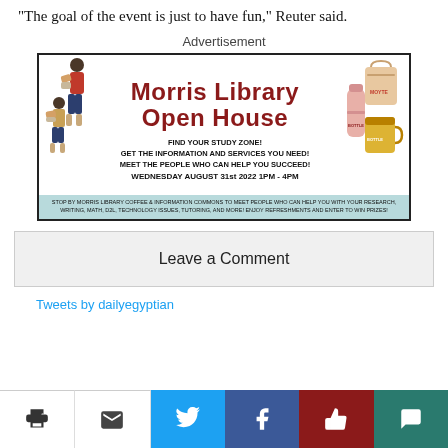"The goal of the event is just to have fun," Reuter said.
Advertisement
[Figure (infographic): Morris Library Open House advertisement. Find your study zone! Get the information and services you need! Meet the people who can help you succeed! Wednesday August 31st 2022 1PM - 4PM. Stop by Morris Library Coffee & Information Commons to meet people who can help you with your research, writing, math, D2L, technology issues, tutoring, and more! Enjoy refreshments and enter to win prizes!]
Leave a Comment
Tweets by dailyegyptian